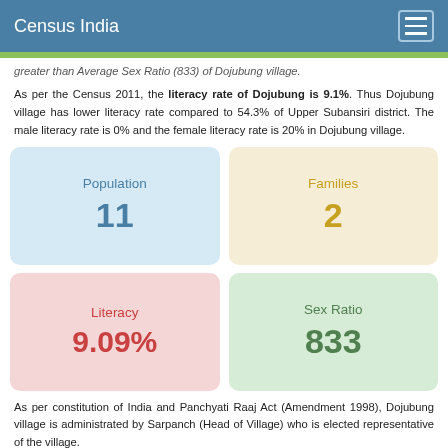Census India
greater than Average Sex Ratio (833) of Dojubung village.
As per the Census 2011, the literacy rate of Dojubung is 9.1%. Thus Dojubung village has lower literacy rate compared to 54.3% of Upper Subansiri district. The male literacy rate is 0% and the female literacy rate is 20% in Dojubung village.
[Figure (infographic): Four stat cards: Population 11, Families 2, Literacy 9.09%, Sex Ratio 833]
As per constitution of India and Panchyati Raaj Act (Amendment 1998), Dojubung village is administrated by Sarpanch (Head of Village) who is elected representative of the village.